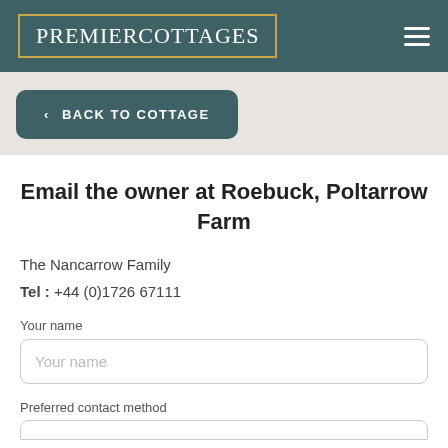[Figure (logo): PremierCottages logo in white serif text inside a gold-bordered rectangle on a teal background header bar]
< BACK TO COTTAGE
Email the owner at Roebuck, Poltarrow Farm
The Nancarrow Family
Tel : +44 (0)1726 67111
Your name
Your name
Preferred contact method